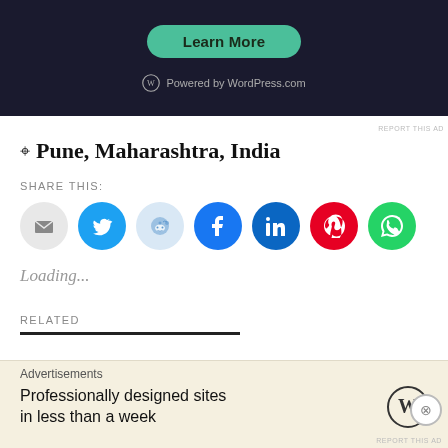[Figure (screenshot): WordPress.com ad banner with dark background, green 'Learn More' button, and 'Powered by WordPress.com' text with WordPress logo]
REPORT THIS AD
📍 Pune, Maharashtra, India
SHARE THIS:
[Figure (other): Row of social sharing icon buttons: Email, Twitter, Reddit, Facebook, LinkedIn, Pinterest, WhatsApp]
Loading...
RELATED
[Figure (screenshot): WordPress.com bottom advertisement: 'Professionally designed sites in less than a week' with WordPress logo]
Advertisements
REPORT THIS AD